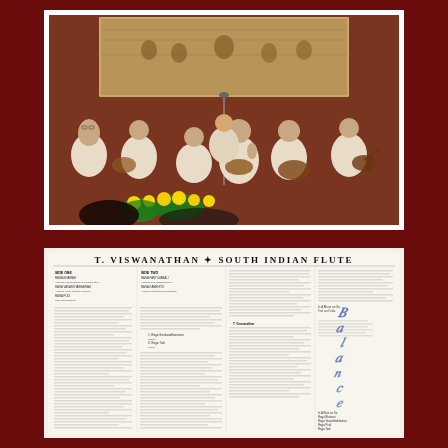[Figure (photo): Group of Indian musicians seated on floor in white kurtas, playing instruments including veena and tabla, with decorative tapestry on wall behind them and yellow flowers in foreground]
[Figure (photo): Liner notes for 'T. Viswanathan - South Indian Flute' album with multi-column text, headers, and decorative blue script on right side]